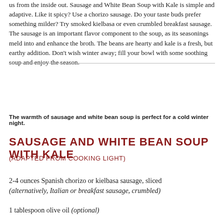us from the inside out. Sausage and White Bean Soup with Kale is simple and adaptive. Like it spicy? Use a chorizo sausage. Do your taste buds prefer something milder? Try smoked kielbasa or even crumbled breakfast sausage. The sausage is an important flavor component to the soup, as its seasonings meld into and enhance the broth. The beans are hearty and kale is a fresh, but earthy addition. Don't wish winter away; fill your bowl with some soothing soup and enjoy the season.
The warmth of sausage and white bean soup is perfect for a cold winter night.
SAUSAGE AND WHITE BEAN SOUP WITH KALE
(ADAPTED FROM COOKING LIGHT)
2-4 ounces Spanish chorizo or kielbasa sausage, sliced (alternatively, Italian or breakfast sausage, crumbled)
1 tablespoon olive oil (optional)